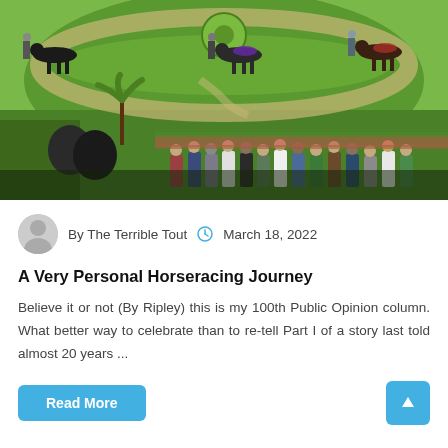[Figure (photo): Aerial view of a horse racing paddock or walking ring with lush green grass, circular garden features, horses with riders/handlers walking along a path, and a crowd of spectators standing along the fence in the foreground.]
By The Terrible Tout  March 18, 2022
A Very Personal Horseracing Journey
Believe it or not (By Ripley) this is my 100th Public Opinion column. What better way to celebrate than to re-tell Part I of a story last told almost 20 years ...
Read More